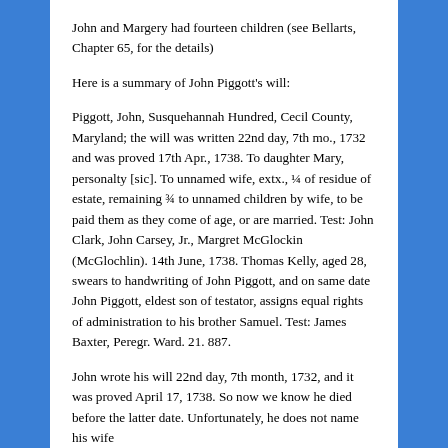John and Margery had fourteen children (see Bellarts, Chapter 65, for the details)
Here is a summary of John Piggott's will:
Piggott, John, Susquehannah Hundred, Cecil County, Maryland; the will was written 22nd day, 7th mo., 1732 and was proved 17th Apr., 1738. To daughter Mary, personalty [sic]. To unnamed wife, extx., ¼ of residue of estate, remaining ¾ to unnamed children by wife, to be paid them as they come of age, or are married. Test: John Clark, John Carsey, Jr., Margret McGlockin (McGlochlin). 14th June, 1738. Thomas Kelly, aged 28, swears to handwriting of John Piggott, and on same date John Piggott, eldest son of testator, assigns equal rights of administration to his brother Samuel. Test: James Baxter, Peregr. Ward. 21. 887.
John wrote his will 22nd day, 7th month, 1732, and it was proved April 17, 1738. So now we know he died before the latter date. Unfortunately, he does not name his wife